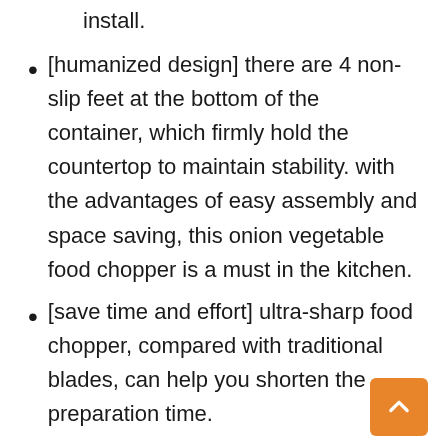install.
[humanized design] there are 4 non-slip feet at the bottom of the container, which firmly hold the countertop to maintain stability. with the advantages of easy assembly and space saving, this onion vegetable food chopper is a must in the kitchen.
[save time and effort] ultra-sharp food chopper, compared with traditional blades, can help you shorten the preparation time.